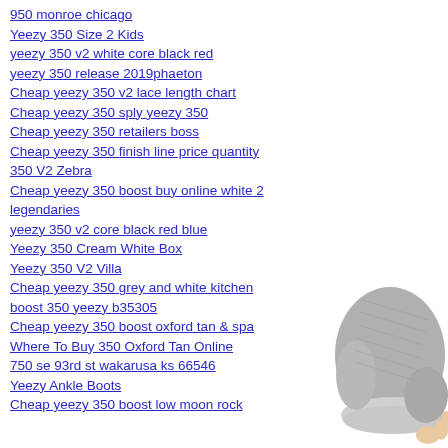950 monroe chicago
Yeezy 350 Size 2 Kids
yeezy 350 v2 white core black red
yeezy 350 release 2019phaeton
Cheap yeezy 350 v2 lace length chart
Cheap yeezy 350 sply yeezy 350
Cheap yeezy 350 retailers boss
Cheap yeezy 350 finish line price quantity
350 V2 Zebra
Cheap yeezy 350 boost buy online white 2 legendaries
yeezy 350 v2 core black red blue
Yeezy 350 Cream White Box
Yeezy 350 V2 Villa
Cheap yeezy 350 grey and white kitchen
boost 350 yeezy b35305
Cheap yeezy 350 boost oxford tan & spa
Where To Buy 350 Oxford Tan Online
750 se 93rd st wakarusa ks 66546
Yeezy Ankle Boots
Cheap yeezy 350 boost low moon rock
[Figure (photo): Photo of a grey Yeezy sneaker/shoe, showing the side and sole, on a white background.]